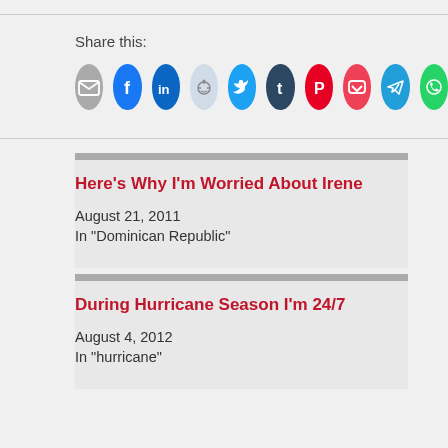Share this:
[Figure (infographic): Row of social sharing icon buttons: email (grey), Facebook (blue), LinkedIn (dark blue), Reddit (light blue/grey), Twitter (blue), Tumblr (dark navy), Pinterest (red), Pocket (red), Telegram (blue), WhatsApp (green)]
Here's Why I'm Worried About Irene
August 21, 2011
In "Dominican Republic"
During Hurricane Season I'm 24/7
August 4, 2012
In "hurricane"